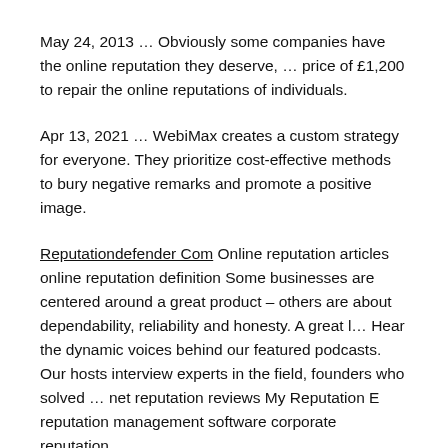May 24, 2013 … Obviously some companies have the online reputation they deserve, … price of £1,200 to repair the online reputations of individuals.
Apr 13, 2021 … WebiMax creates a custom strategy for everyone. They prioritize cost-effective methods to bury negative remarks and promote a positive image.
Reputationdefender Com Online reputation articles online reputation definition Some businesses are centered around a great product – others are about dependability, reliability and honesty. A great l… Hear the dynamic voices behind our featured podcasts. Our hosts interview experts in the field, founders who solved … net reputation reviews My Reputation E reputation management software corporate reputation